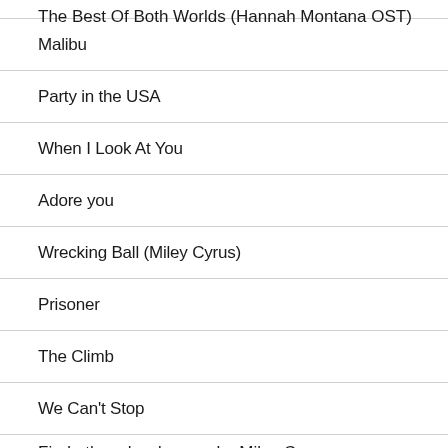The Best Of Both Worlds (Hannah Montana OST)
Malibu
Party in the USA
When I Look At You
Adore you
Wrecking Ball (Miley Cyrus)
Prisoner
The Climb
We Can't Stop
Find other chord songs by Miley Cyrus